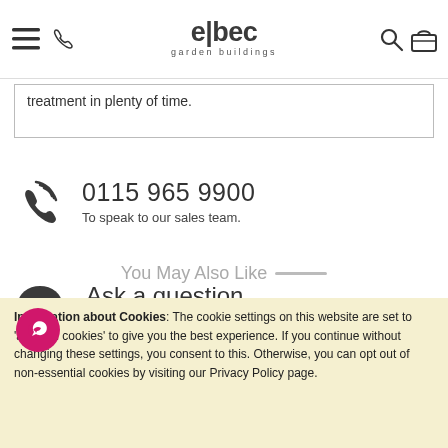elbec garden buildings
treatment in plenty of time.
0115 965 9900
To speak to our sales team.
Ask a question
Complete our online form
You May Also Like
Information about Cookies: The cookie settings on this website are set to 'allow all cookies' to give you the best experience. If you continue without changing these settings, you consent to this. Otherwise, you can opt out of non-essential cookies by visiting our Privacy Policy page.